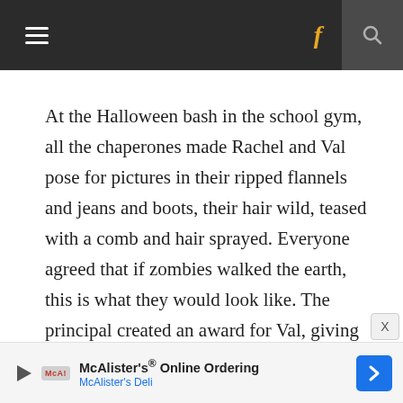Navigation bar with hamburger menu, Facebook link, and search icon
At the Halloween bash in the school gym, all the chaperones made Rachel and Val pose for pictures in their ripped flannels and jeans and boots, their hair wild, teased with a comb and hair sprayed. Everyone agreed that if zombies walked the earth, this is what they would look like. The principal created an award for Val, giving her free cupcakes and snacks. She took her fairy godmother wand, a shimmery silver baton with streamers, and handed it to Val.
McAlister's® Online Ordering McAlister's Deli